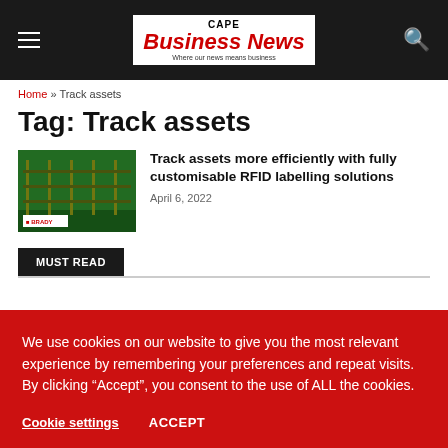CAPE Business News – Where our news means business
Home » Track assets
Tag: Track assets
[Figure (photo): Warehouse aisle with green lighting and BRADY label products visible in shelving]
Track assets more efficiently with fully customisable RFID labelling solutions
April 6, 2022
MUST READ
We use cookies on our website to give you the most relevant experience by remembering your preferences and repeat visits. By clicking “Accept”, you consent to the use of ALL the cookies.
Cookie settings   ACCEPT